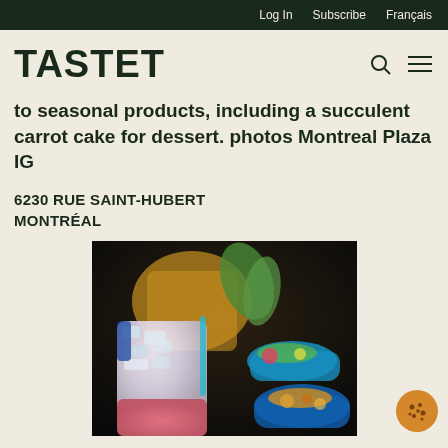Log In  Subscribe  Français
TASTET
to seasonal products, including a succulent carrot cake for dessert. photos Montreal Plaza IG
6230 RUE SAINT-HUBERT
MONTRÉAL
[Figure (photo): Close-up photograph of colorful food and drinks on a table, featuring a crushed ice drink in foreground and blue bowls with food in background, dimly lit restaurant setting.]